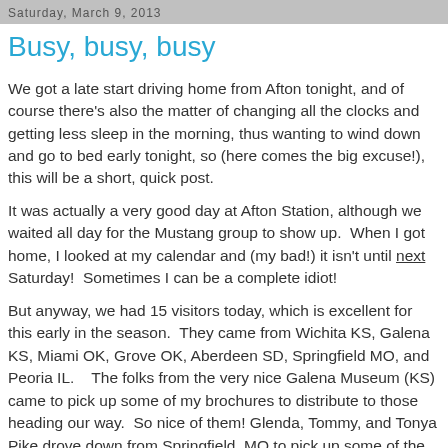Saturday, March 9, 2013
Busy, busy, busy
We got a late start driving home from Afton tonight, and of course there's also the matter of changing all the clocks and getting less sleep in the morning, thus wanting to wind down and go to bed early tonight, so (here comes the big excuse!), this will be a short, quick post.
It was actually a very good day at Afton Station, although we waited all day for the Mustang group to show up.  When I got home, I looked at my calendar and (my bad!) it isn't until next Saturday!  Sometimes I can be a complete idiot!
But anyway, we had 15 visitors today, which is excellent for this early in the season.  They came from Wichita KS, Galena KS, Miami OK, Grove OK, Aberdeen SD, Springfield MO, and Peoria IL.    The folks from the very nice Galena Museum (KS) came to pick up some of my brochures to distribute to those heading our way.  So nice of them! Glenda, Tommy, and Tonya Pike drove down from Springfield, MO to pick up some of the Oklahoma Route 66